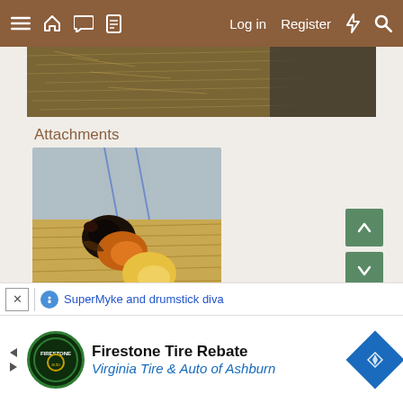≡ 🏠 💬 📄   Log in   Register   ⚡   🔍
[Figure (photo): Top partial image showing hay/straw background with dark tones]
Attachments
[Figure (photo): Photo of baby chicks/poultry nestled in hay or straw, labeled IMG_5733.jpg]
IMG_5733.jpg
SuperMyke and drumstick diva
Firestone Tire Rebate
Virginia Tire & Auto of Ashburn